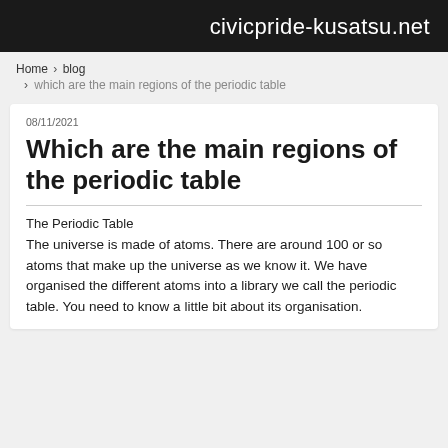civicpride-kusatsu.net
Home › blog › which are the main regions of the periodic table
08/11/2021
Which are the main regions of the periodic table
The Periodic Table
The universe is made of atoms. There are around 100 or so atoms that make up the universe as we know it. We have organised the different atoms into a library we call the periodic table. You need to know a little bit about its organisation.